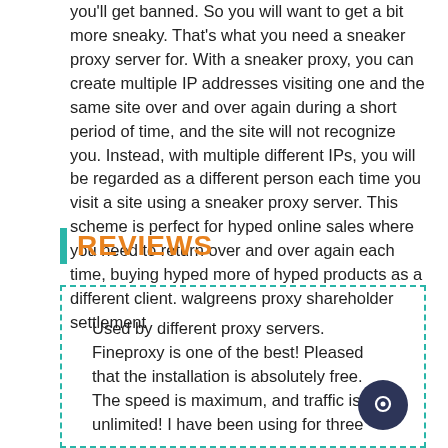you'll get banned. So you will want to get a bit more sneaky. That's what you need a sneaker proxy server for. With a sneaker proxy, you can create multiple IP addresses visiting one and the same site over and over again during a short period of time, and the site will not recognize you. Instead, with multiple different IPs, you will be regarded as a different person each time you visit a site using a sneaker proxy server. This scheme is perfect for hyped online sales where you need to return over and over again each time, buying hyped more of hyped products as a different client. walgreens proxy shareholder settlement
REVIEWS
Used by different proxy servers. Fineproxy is one of the best! Pleased that the installation is absolutely free.  The speed is maximum, and traffic is unlimited! I have been using for three